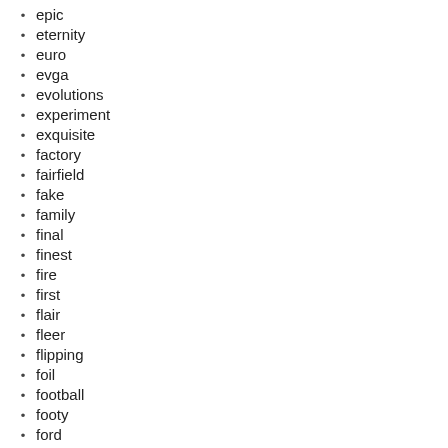epic
eternity
euro
evga
evolutions
experiment
exquisite
factory
fairfield
fake
family
final
finest
fire
first
flair
fleer
flipping
foil
football
footy
ford
forgetting